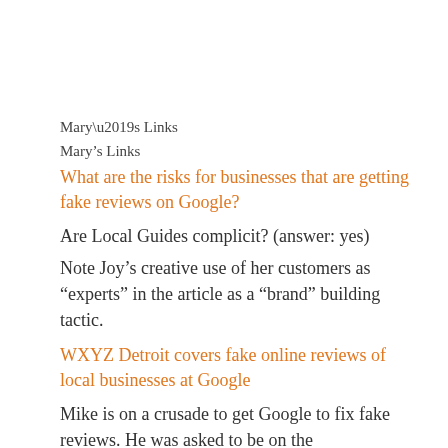Mary’s Links
What are the risks for businesses that are getting fake reviews on Google?
Are Local Guides complicit? (answer: yes)
Note Joy’s creative use of her customers as “experts” in the article as a “brand” building tactic.
WXYZ Detroit covers fake online reviews of local businesses at Google
Mike is on a crusade to get Google to fix fake reviews. He was asked to be on the